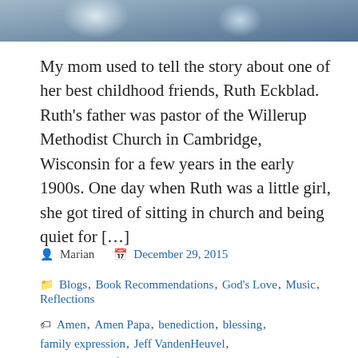[Figure (photo): Partial photo showing what appears to be a bird or feathered animal, cropped at the top of the page]
My mom used to tell the story about one of her best childhood friends, Ruth Eckblad. Ruth's father was pastor of the Willerup Methodist Church in Cambridge, Wisconsin for a few years in the early 1900s. One day when Ruth was a little girl, she got tired of sitting in church and being quiet for […]
Marian   December 29, 2015
Blogs, Book Recommendations, God's Love, Music, Reflections
Amen, Amen Papa, benediction, blessing, family expression, Jeff VandenHeuvel, May God go before you, Meditations on 366 best loved hymns, Messiah Church,